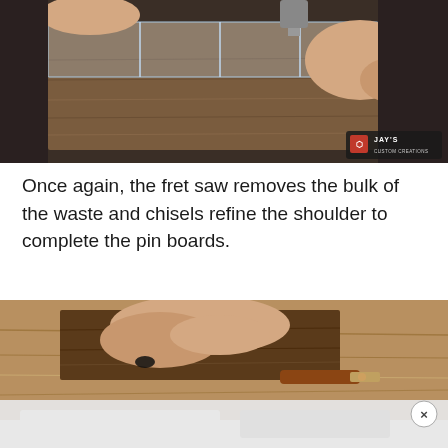[Figure (photo): Close-up photo of hands using a fret saw on a wood piece held in a jig. A 'Jay's Custom Creations' logo watermark is visible in the bottom-right corner of the image. The wood has walnut grain and is secured in a transparent jig setup.]
Once again, the fret saw removes the bulk of the waste and chisels refine the shoulder to complete the pin boards.
[Figure (photo): Close-up photo of hands working on wooden boards with a chisel tool. The wood has a light grain. At the bottom of the image, there is a partially visible advertisement overlay with an X close button.]